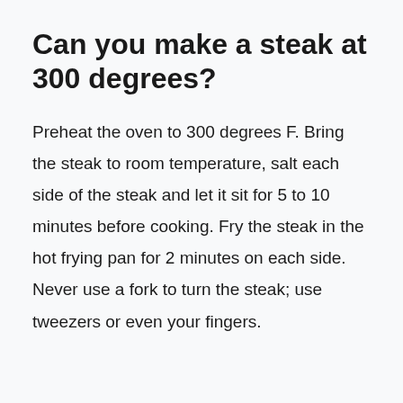Can you make a steak at 300 degrees?
Preheat the oven to 300 degrees F. Bring the steak to room temperature, salt each side of the steak and let it sit for 5 to 10 minutes before cooking. Fry the steak in the hot frying pan for 2 minutes on each side. Never use a fork to turn the steak; use tweezers or even your fingers.